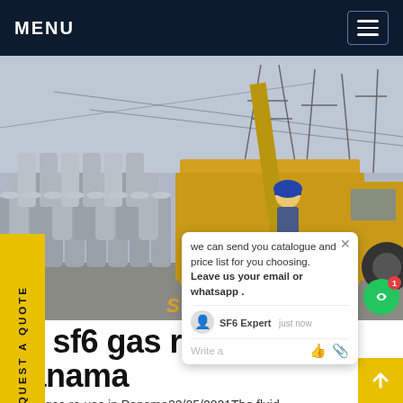MENU
[Figure (photo): Industrial photo showing rows of SF6 gas cylinders in gray, a worker in blue hard hat, a yellow service truck/vehicle, and electrical substation infrastructure with towers in the background. Chat popup overlay visible with message: 'we can send you catalogue and price list for you choosing. Leave us your email or whatsapp .' Watermark text 'SF6China' in orange at bottom right.]
ge sf6 gas re-use in Panama
ge sf6 gas re-use in Panama22/05/2021The fluid employed in all three technologies (SF6 gas or a